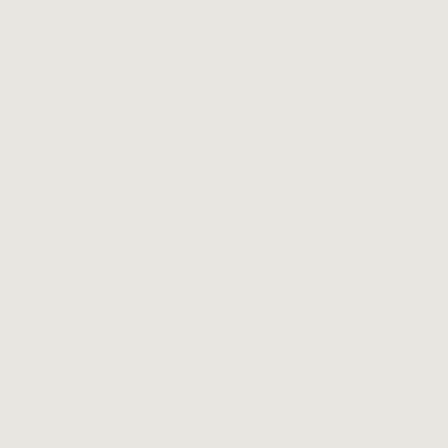it is true that government is presumably supplying Ms. Kish's needs, most would not regard her as living on some type of subsidy or 'handout'. Rather, she is receiving benefits from a medical system to which all Canadians contribute and from which all are entitled to receive medical care
In Wills Variation
[Figure (screenshot): Search input box with magnifying glass icon]
Categories
[Figure (screenshot): Select Category dropdown box]
Recent Posts
S.10 Law & Equity Act Used to Enforce Settlement
Unjust Enrichment Claim Dismissed For Juristic Reason